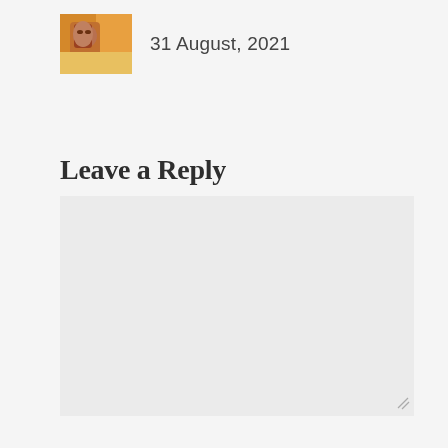[Figure (photo): Small square avatar image of a person with colorful artistic/painted style background in orange and yellow tones]
31 August, 2021
Leave a Reply
[Figure (screenshot): Empty comment text area input box with light gray background and resize handle in bottom right corner]
Name *